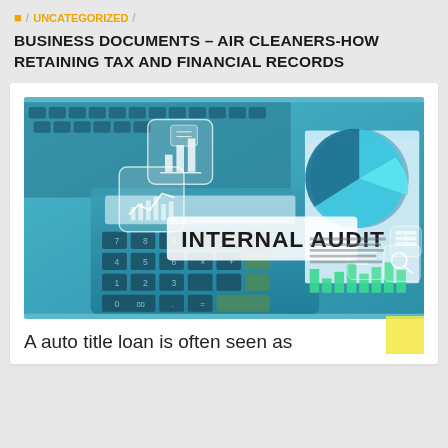🏠 / UNCATEGORIZED /
BUSINESS DOCUMENTS – AIR CLEANERS-HOW RETAINING TAX AND FINANCIAL RECORDS
[Figure (photo): Internal audit concept image showing a calculator, pie chart, bar charts, and financial documents with overlaid icons for data analysis and the text 'INTERNAL AUDIT' in a white box.]
A auto title loan is often seen as